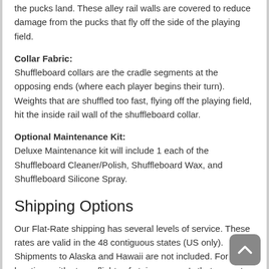the pucks land. These alley rail walls are covered to reduce damage from the pucks that fly off the side of the playing field.
Collar Fabric: Shuffleboard collars are the cradle segments at the opposing ends (where each player begins their turn). Weights that are shuffled too fast, flying off the playing field, hit the inside rail wall of the shuffleboard collar.
Optional Maintenance Kit: Deluxe Maintenance kit will include 1 each of the Shuffleboard Cleaner/Polish, Shuffleboard Wax, and Shuffleboard Silicone Spray.
Shipping Options
Our Flat-Rate shipping has several levels of service. These rates are valid in the 48 contiguous states (US only). Shipments to Alaska and Hawaii are not included. For locations with steps, flights of stairs, or area's that are not directly accessible, additional charges may apply.